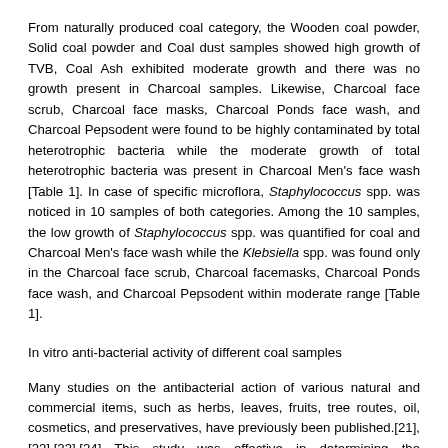From naturally produced coal category, the Wooden coal powder, Solid coal powder and Coal dust samples showed high growth of TVB, Coal Ash exhibited moderate growth and there was no growth present in Charcoal samples. Likewise, Charcoal face scrub, Charcoal face masks, Charcoal Ponds face wash, and Charcoal Pepsodent were found to be highly contaminated by total heterotrophic bacteria while the moderate growth of total heterotrophic bacteria was present in Charcoal Men's face wash [Table 1]. In case of specific microflora, Staphylococcus spp. was noticed in 10 samples of both categories. Among the 10 samples, the low growth of Staphylococcus spp. was quantified for coal and Charcoal Men's face wash while the Klebsiella spp. was found only in the Charcoal face scrub, Charcoal facemasks, Charcoal Ponds face wash, and Charcoal Pepsodent within moderate range [Table 1].
In vitro anti-bacterial activity of different coal samples
Many studies on the antibacterial action of various natural and commercial items, such as herbs, leaves, fruits, tree routes, oil, cosmetics, and preservatives, have previously been published.[21],[22],[23].[24] This study was effective in determining the antibacterial activity of various naturally formed coal and commercially produced coal samples, which are uncommon not only in our nation but also globally. Most of the samples showed antibacterial activity against the tested bacteria [Table 2]. Wooden coal powder was able to produced 19 mm zone of inhibition against E. coli, Klebsiella spp., and Staphylococcus spp. and 20 mm against Pseudomonas spp., coal ash sample produced zone diameter 24 mm against E. coli, 18 mm